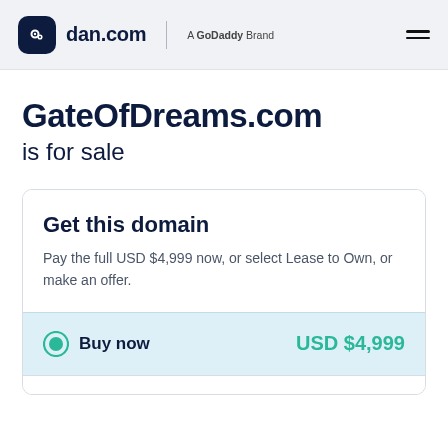dan.com | A GoDaddy Brand
GateOfDreams.com is for sale
Get this domain
Pay the full USD $4,999 now, or select Lease to Own, or make an offer.
Buy now   USD $4,999